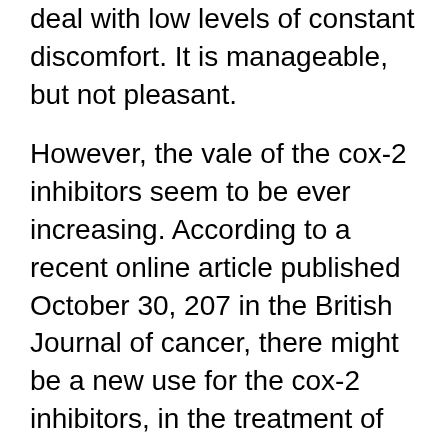deal with low levels of constant discomfort. It is manageable, but not pleasant.
However, the vale of the cox-2 inhibitors seem to be ever increasing. According to a recent online article published October 30, 207 in the British Journal of cancer, there might be a new use for the cox-2 inhibitors, in the treatment of cancer.
As prostate cancer patients we move into end stage disease there is often severe pain. Morphine and its related